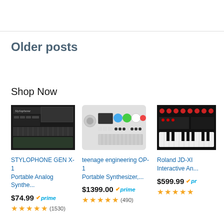Older posts
Shop Now
[Figure (photo): STYLOPHONE GEN X-1 Portable Analog Synthesizer product image]
STYLOPHONE GEN X-1 Portable Analog Synthe...
$74.99 prime ★★★★½ (1530)
[Figure (photo): teenage engineering OP-1 Portable Synthesizer product image]
teenage engineering OP-1 Portable Synthesizer,...
$1399.00 prime ★★★★★ (490)
[Figure (photo): Roland JD-XI Interactive Analog synthesizer product image]
Roland JD-XI Interactive An...
$599.99 prime ★★★★½